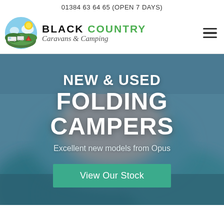01384 63 64 65 (OPEN 7 DAYS)
[Figure (logo): Black Country Caravans & Camping logo with circular landscape illustration showing caravans, tents, hills, sun and sky, with brand text 'BLACK COUNTRY Caravans & Camping']
NEW & USED FOLDING CAMPERS
Excellent new models from Opus
View Our Stock